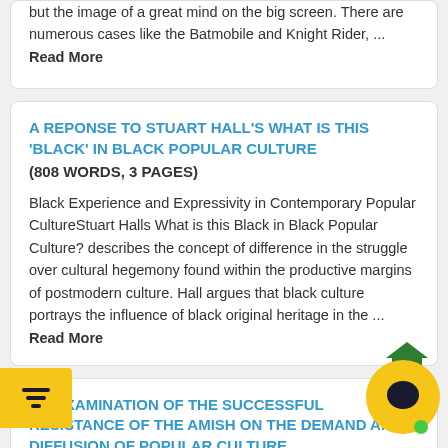but the image of a great mind on the big screen. There are numerous cases like the Batmobile and Knight Rider, ... Read More
A REPONSE TO STUART HALL'S WHAT IS THIS 'BLACK' IN BLACK POPULAR CULTURE
(808 WORDS, 3 PAGES)
Black Experience and Expressivity in Contemporary Popular CultureStuart Halls What is this Black in Black Popular Culture? describes the concept of difference in the struggle over cultural hegemony found within the productive margins of postmodern culture. Hall argues that black culture portrays the influence of black original heritage in the ... Read More
AN EXAMINATION OF THE SUCCESSFUL RESISTANCE OF THE AMISH ON THE DEMAND AND DIFFUSION OF POPULAR CULTURE
(352 WORDS, 1 PAGES)